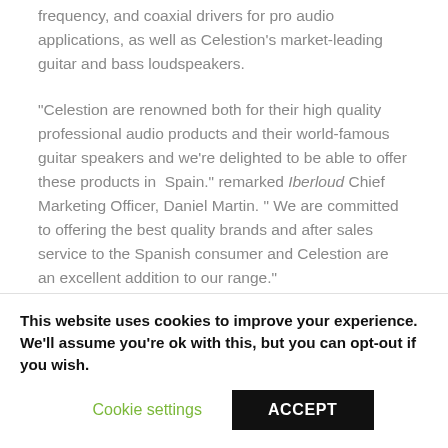frequency, and coaxial drivers for pro audio applications, as well as Celestion’s market-leading guitar and bass loudspeakers.
“Celestion are renowned both for their high quality professional audio products and their world-famous guitar speakers and we’re delighted to be able to offer these products in Spain.” remarked Iberloud Chief Marketing Officer, Daniel Martin. “ We are committed to offering the best quality brands and after sales service to the Spanish consumer and Celestion are an excellent addition to our range.”
“We have been very satisfied fit...
This website uses cookies to improve your experience. We'll assume you're ok with this, but you can opt-out if you wish.
Cookie settings
ACCEPT